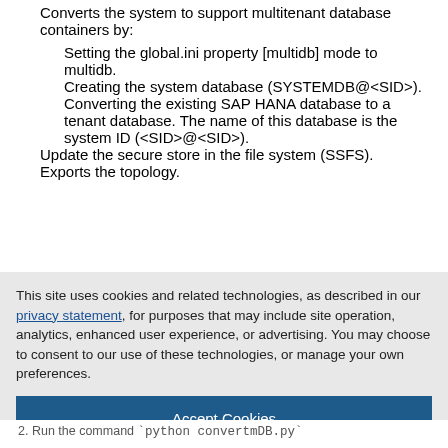Converts the system to support multitenant database containers by:
Setting the global.ini property [multidb] mode to multidb.
Creating the system database (SYSTEMDB@<SID>).
Converting the existing SAP HANA database to a tenant database. The name of this database is the system ID (<SID>@<SID>).
Update the secure store in the file system (SSFS).
Exports the topology.
This site uses cookies and related technologies, as described in our privacy statement, for purposes that may include site operation, analytics, enhanced user experience, or advertising. You may choose to consent to our use of these technologies, or manage your own preferences.
Accept Cookies
More Information
Privacy Policy | Powered by: TrustArc
2. Run the command `python convertmDB.py`